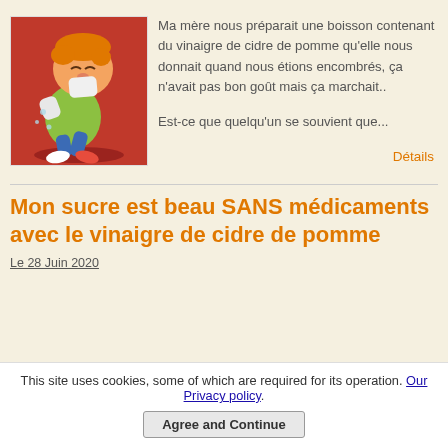[Figure (illustration): Cartoon of a child sneezing into a tissue, with red background and shadow beneath]
Ma mère nous préparait une boisson contenant du vinaigre de cidre de pomme qu'elle nous donnait quand nous étions encombrés, ça n'avait pas bon goût mais ça marchait..

Est-ce que quelqu'un se souvient que...
Détails
Mon sucre est beau SANS médicaments avec le vinaigre de cidre de pomme
Le 28 Juin 2020
This site uses cookies, some of which are required for its operation. Our Privacy policy.
Agree and Continue